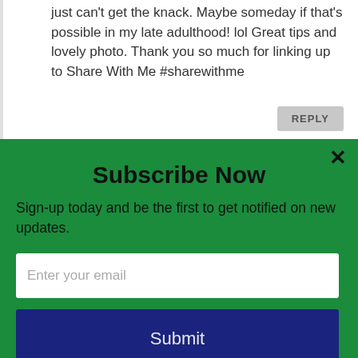just can't get the knack. Maybe someday if that's possible in my late adulthood! lol Great tips and lovely photo. Thank you so much for linking up to Share With Me #sharewithme
REPLY
Subscribe Now
Sign-up today and be the first to get notified on new updates.
Enter your email
Submit
powered by MailMunch